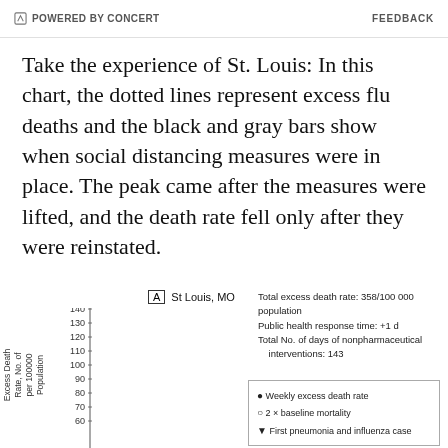POWERED BY CONCERT    FEEDBACK
Take the experience of St. Louis: In this chart, the dotted lines represent excess flu deaths and the black and gray bars show when social distancing measures were in place. The peak came after the measures were lifted, and the death rate fell only after they were reinstated.
[Figure (continuous-plot): Chart labeled 'A St Louis, MO' showing weekly excess death rate (No. per 100000 Population) on the y-axis from 60 to 140+. Y-axis ticks at 60, 70, 80, 90, 100, 110, 120, 130, 140. Chart annotations: Total excess death rate: 358/100000 population; Public health response time: +1 d; Total No. of days of nonpharmaceutical interventions: 143. Legend shows: bullet = Weekly excess death rate; circle = 2x baseline mortality; filled downward triangle = First pneumonia and influenza case.]